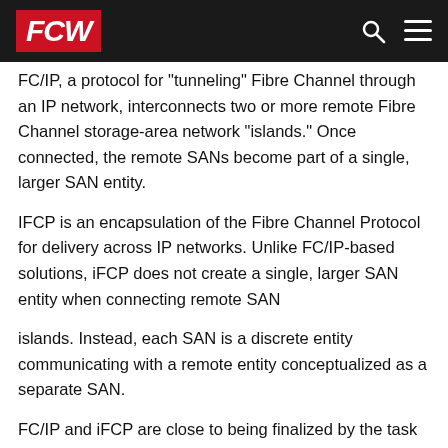FCW
FC/IP, a protocol for "tunneling" Fibre Channel through an IP network, interconnects two or more remote Fibre Channel storage-area network "islands." Once connected, the remote SANs become part of a single, larger SAN entity.
IFCP is an encapsulation of the Fibre Channel Protocol for delivery across IP networks. Unlike FC/IP-based solutions, iFCP does not create a single, larger SAN entity when connecting remote SAN
islands. Instead, each SAN is a discrete entity communicating with a remote entity conceptualized as a separate SAN.
FC/IP and iFCP are close to being finalized by the task force, but iSCSI advocates say they are temporary fixes that do not address the fundamental limitations of Fibre Channel. They likely will find a home where Fibre Channel has already been deployed, but like Fibre Channel SANs in general, they will lose their relevance as iSCSI SANs enter the market.